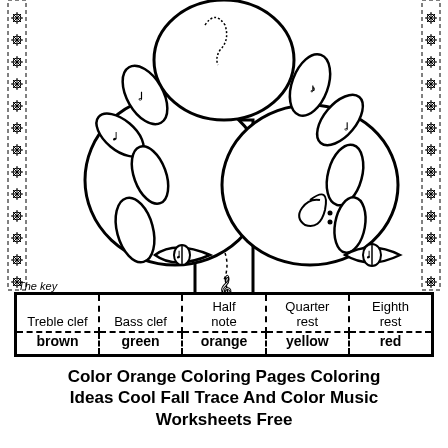[Figure (illustration): A stylized music tree with treble clef and bass clef symbols on the trunk, decorated leaves with musical notes, flanked by dashed border strips with flower/snowflake decorations on left and right sides. Small leaf/eye shapes at bottom sides. Black and white coloring page illustration.]
The key
| Treble clef | Bass clef | Half note | Quarter rest | Eighth rest |
| --- | --- | --- | --- | --- |
| brown | green | orange | yellow | red |
Color Orange Coloring Pages Coloring Ideas Cool Fall Trace And Color Music Worksheets Free